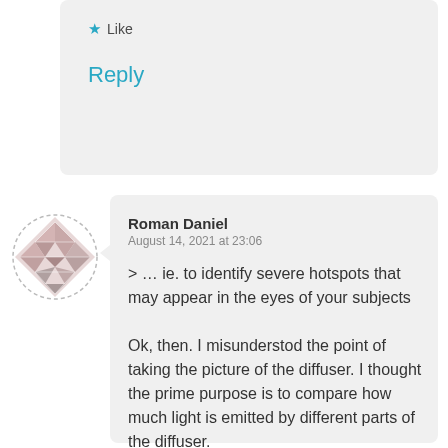★ Like
Reply
[Figure (illustration): Avatar image: a decorative geometric/mosaic diamond-shaped pattern with dashed circular border, in muted pink/grey tones]
Roman Daniel
August 14, 2021 at 23:06
> … ie. to identify severe hotspots that may appear in the eyes of your subjects

Ok, then. I misunderstod the point of taking the picture of the diffuser. I thought the prime purpose is to compare how much light is emitted by different parts of the diffuser.